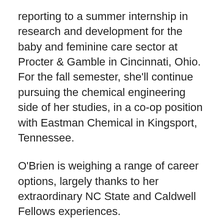reporting to a summer internship in research and development for the baby and feminine care sector at Procter & Gamble in Cincinnati, Ohio. For the fall semester, she'll continue pursuing the chemical engineering side of her studies, in a co-op position with Eastman Chemical in Kingsport, Tennessee.
O'Brien is weighing a range of career options, largely thanks to her extraordinary NC State and Caldwell Fellows experiences.
“To prospective donors, please consider donating. You won’t be disappointed knowing how much your time and support is influencing and molding someone to reach their full potential,” she said. “Our donors are such a crucial part to making this